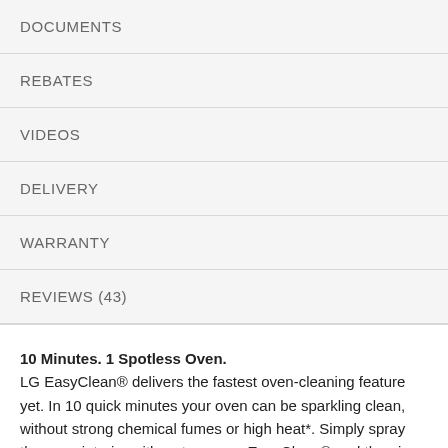DOCUMENTS
REBATES
VIDEOS
DELIVERY
WARRANTY
REVIEWS (43)
10 Minutes. 1 Spotless Oven. LG EasyClean® delivers the fastest oven-cleaning feature yet. In 10 quick minutes your oven can be sparkling clean, without strong chemical fumes or high heat*. Simply spray the oven interior with water, press EasyClean® and then in 10 minutes, quickly wipe away any leftover grime.